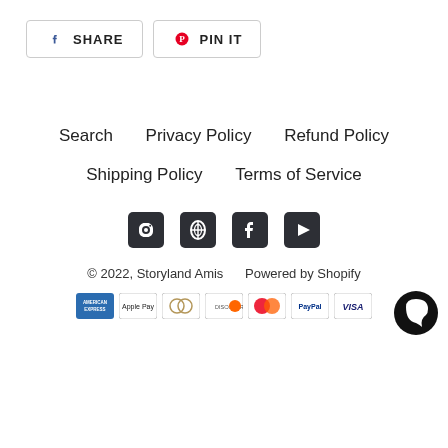[Figure (other): Share buttons: Facebook SHARE and Pinterest PIN IT]
Search    Privacy Policy    Refund Policy    Shipping Policy    Terms of Service
[Figure (other): Social media icons: Facebook, Pinterest, Instagram, YouTube]
© 2022, Storyland Amis    Powered by Shopify
[Figure (other): Payment method icons: American Express, Apple Pay, Diners Club, Discover, Mastercard, PayPal, Visa, and chat bubble icon]